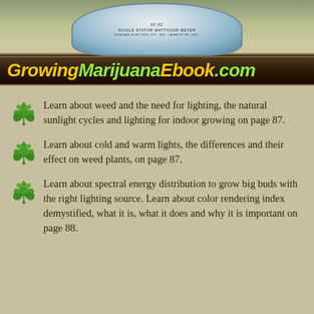[Figure (photo): Photo of a single stator watthour meter with circular glass dome, showing meter face with dials]
GrowingMarijuanaEbook.com
Learn about weed and the need for lighting, the natural sunlight cycles and lighting for indoor growing on page 87.
Learn about cold and warm lights, the differences and their effect on weed plants, on page 87.
Learn about spectral energy distribution to grow big buds with the right lighting source. Learn about color rendering index demystified, what it is, what it does and why it is important on page 88.